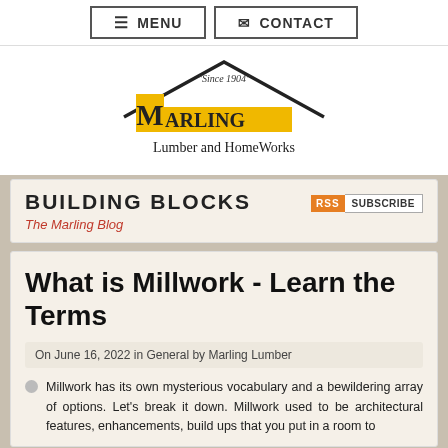≡ MENU  ✉ CONTACT
[Figure (logo): Marling Lumber and HomeWorks logo — yellow block letters spelling MARLING with a house/roof outline above, 'Since 1904' text, and subtitle 'Lumber and HomeWorks']
BUILDING BLOCKS
The Marling Blog
What is Millwork - Learn the Terms
On June 16, 2022 in General by Marling Lumber
Millwork has its own mysterious vocabulary and a bewildering array of options. Let's break it down. Millwork used to be architectural features, enhancements, build ups that you put in a room to